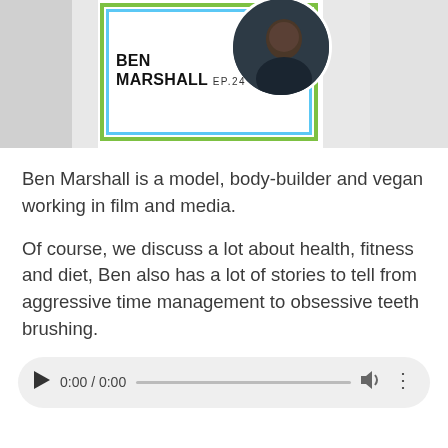[Figure (photo): Podcast episode card for Ben Marshall EP.24, showing a circular portrait photo of Ben Marshall with a green and blue border frame, on a gray background]
Ben Marshall is a model, body-builder and vegan working in film and media.
Of course, we discuss a lot about health, fitness and diet, Ben also has a lot of stories to tell from aggressive time management to obsessive teeth brushing.
[Figure (screenshot): Audio player UI with play button, time display 0:00 / 0:00, progress bar, volume icon, and more options icon]